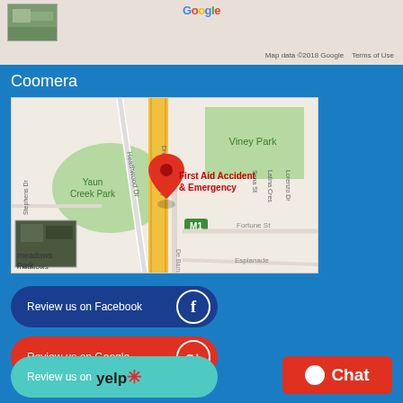[Figure (map): Partial Google Maps screenshot showing a map area with a Google logo and 'Map data ©2018 Google   Terms of Use' text at bottom right, and a thumbnail image at top left.]
Coomera
[Figure (map): Google Maps screenshot showing Coomera area with streets including Heathwood Dr, Dreamworld Pkwy, Stephens Dr, De Barnett St, and landmarks Yaun Creek Park, Viney Park, M1. A red map pin labeled 'First Aid Accident & Emergency' is shown. A satellite thumbnail is in the lower left corner.]
Review us on Facebook
Review us on Google
Review us on yelp
Chat